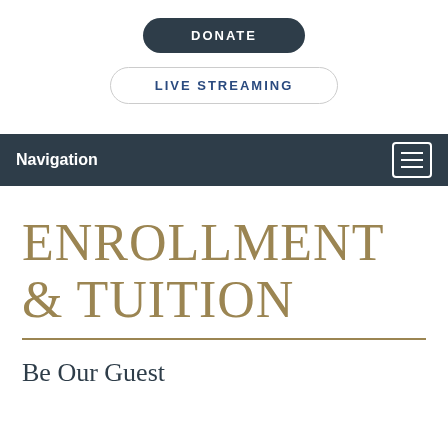[Figure (other): DONATE button — dark charcoal pill-shaped button with white uppercase text]
[Figure (other): LIVE STREAMING button — white pill-shaped button with blue uppercase text and light border]
Navigation
ENROLLMENT & TUITION
Be Our Guest